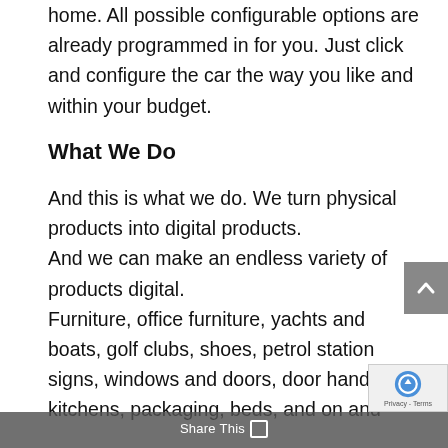home. All possible configurable options are already programmed in for you. Just click and configure the car the way you like and within your budget.
What We Do
And this is what we do. We turn physical products into digital products. And we can make an endless variety of products digital. Furniture, office furniture, yachts and boats, golf clubs, shoes, petrol station signs, windows and doors, door handles, kitchens, packaging, beds, and on and on...